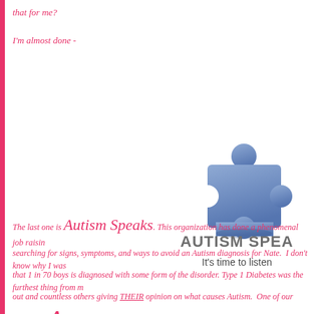that for me?
I'm almost done -
[Figure (illustration): Autism Speaks logo: a blue puzzle piece above the text 'AUTISM SPEAKS' and 'It's time to listen' in gray]
The last one is Autism Speaks. This organization has done a phenomenal job raisin
searching for signs, symptoms, and ways to avoid an Autism diagnosis for Nate.  I don't know why I was
that 1 in 70 boys is diagnosed with some form of the disorder. Type 1 Diabetes was the furthest thing from m
out and countless others giving THEIR opinion on what causes Autism.  One of our nieces has Aspe